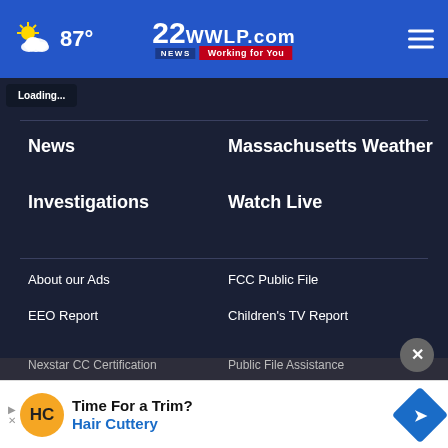87° | 22WWLP.com News Working for You
News
Massachusetts Weather
Investigations
Watch Live
About our Ads
FCC Public File
EEO Report
Children's TV Report
Nexstar CC Certification
Public File Assistance
Privacy
[Figure (screenshot): Hair Cuttery advertisement banner: 'Time For a Trim? Hair Cuttery' with HC logo and blue arrow icon]